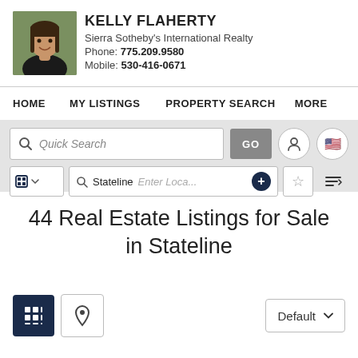[Figure (photo): Headshot of Kelly Flaherty, a woman with brown hair and bangs, smiling, wearing a dark top, green/outdoor background]
KELLY FLAHERTY
Sierra Sotheby's International Realty
Phone: 775.209.9580
Mobile: 530-416-0671
HOME    MY LISTINGS    PROPERTY SEARCH    MORE
[Figure (screenshot): Quick Search input bar with GO button and icon buttons]
[Figure (screenshot): Filter/search row with type selector, Stateline location, Enter Location field, plus button, star button, and sort button]
44 Real Estate Listings for Sale in Stateline
[Figure (screenshot): View toggle buttons: grid view (active, dark navy), map pin view, and Default sort dropdown]